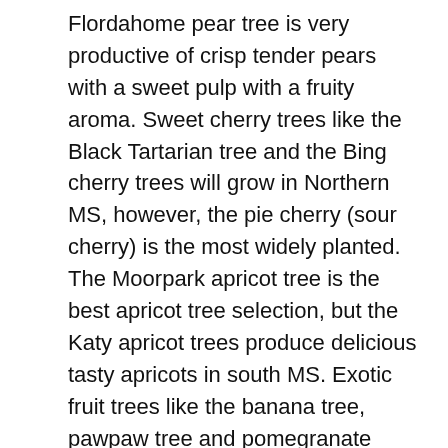Flordahome pear tree is very productive of crisp tender pears with a sweet pulp with a fruity aroma. Sweet cherry trees like the Black Tartarian tree and the Bing cherry trees will grow in Northern MS, however, the pie cherry (sour cherry) is the most widely planted. The Moorpark apricot tree is the best apricot tree selection, but the Katy apricot trees produce delicious tasty apricots in south MS. Exotic fruit trees like the banana tree, pawpaw tree and pomegranate trees are favorites for Southern Mississippi. Jujube trees and Japanese persimmon trees will grow in South MS.There are many fig tree cultivars that grow in MS. The most cold hardy fig tree will be the Chicago Hardy fig tree that will even grow outside in Northern MS, zone 7, and the Tennessee Mountain fig tree and the Brown Turkey fig trees will grow in zone 7.